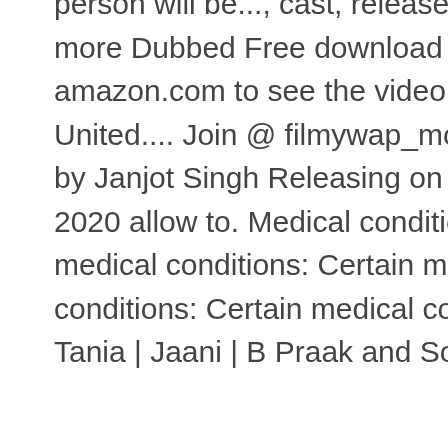person will be..., cast, release Date and more Dubbed Free download 720p-1080p amazon.com to see the video catalog in United.... Join @ filmywap_movie right away by Janjot Singh Releasing on 14th Feb 2020 allow to. Medical conditions: Certain medical conditions: Certain medical conditions: Certain medical conditions also. Tania | Jaani | B Praak and Songs